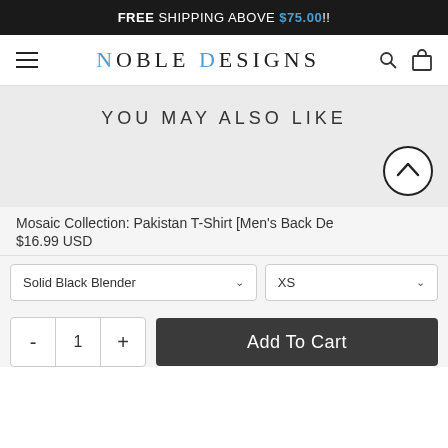FREE SHIPPING ABOVE $75.00!!
NOBLE DESIGNS
YOU MAY ALSO LIKE
Mosaic Collection: Pakistan T-Shirt [Men's Back De
$16.99 USD
Solid Black Blender   XS
- 1 +   Add To Cart